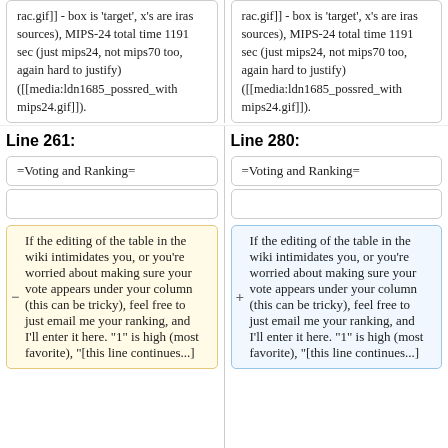rac.gif]] - box is 'target', x's are iras sources), MIPS-24 total time 1191 sec (just mips24, not mips70 too, again hard to justify) ([[media:ldn1685_possred_with mips24.gif]]).
rac.gif]] - box is 'target', x's are iras sources), MIPS-24 total time 1191 sec (just mips24, not mips70 too, again hard to justify) ([[media:ldn1685_possred_with mips24.gif]]).
Line 261:
Line 280:
=Voting and Ranking=
=Voting and Ranking=
If the editing of the table in the wiki intimidates you, or you're worried about making sure your vote appears under your column (this can be tricky), feel free to just email me your ranking, and I'll enter it here.  "1" is high (most favorite), "[this line follows...]
If the editing of the table in the wiki intimidates you, or you're worried about making sure your vote appears under your column (this can be tricky), feel free to just email me your ranking, and I'll enter it here.  "1" is high (most favorite), "[this line follows...]